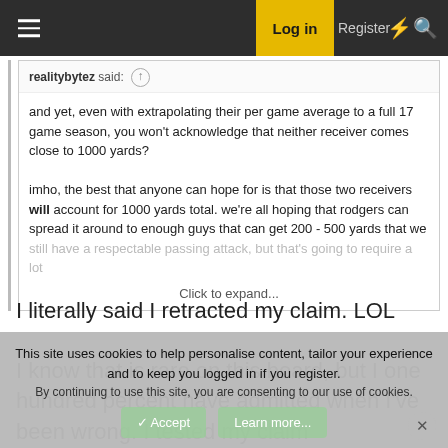Log in | Register
realitybytez said: ↑
and yet, even with extrapolating their per game average to a full 17 game season, you won't acknowledge that neither receiver comes close to 1000 yards?

imho, the best that anyone can hope for is that those two receivers will account for 1000 yards total. we're all hoping that rodgers can spread it around to enough guys that can get 200 - 500 yards that we still have a respectable passing attack, but that's going to require a lot
Click to expand...
I literally said I retracted my claim. LOL
I know that is rare on this board, but I one hundred percent have admitted when I've been wrong. I tested my claim
This site uses cookies to help personalise content, tailor your experience and to keep you logged in if you register.
By continuing to use this site, you are consenting to our use of cookies.